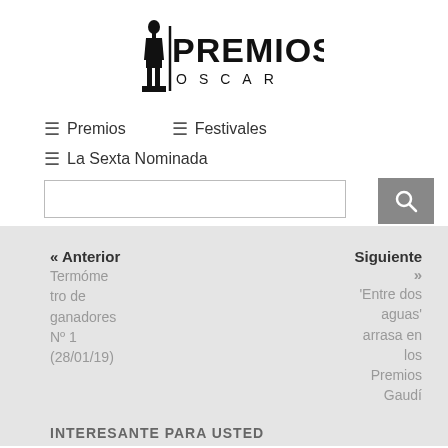[Figure (logo): Premios Oscar logo with Oscar statuette silhouette and text PREMIOS OSCAR]
≡ Premios
≡ Festivales
≡ La Sexta Nominada
« Anterior
Termómetro de ganadores Nº 1 (28/01/19)
Siguiente »
'Entre dos aguas' arrasa en los Premios Gaudí
INTERESANTE PARA USTED